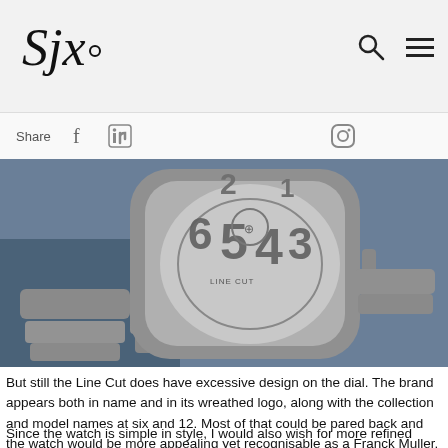SJx.
Share
[Figure (photo): Close-up photograph of a Franck Muller Line Cut watch with titanium bracelet on a blue background, showing the distinctive large numerals on the dial.]
But still the Line Cut does have excessive design on the dial. The brand appears both in name and in its wreathed logo, along with the collection and model names at six and 12. Most of that could be pared back and the watch would be more appealing yet recognisable as a Franck Muller.
Since the watch is simple in style, I would also wish for more refined